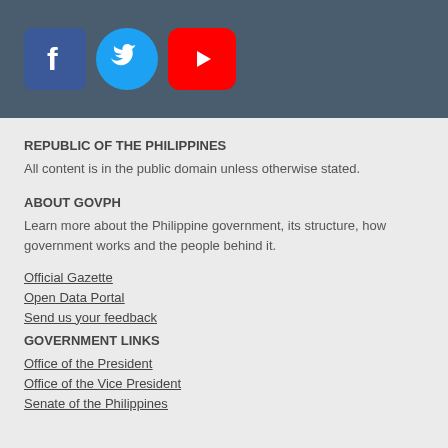[Figure (illustration): Social media icons: Facebook (blue square with f), Twitter (blue circle with bird), YouTube (red rectangle with play button) on dark blue-grey header bar]
REPUBLIC OF THE PHILIPPINES
All content is in the public domain unless otherwise stated.
ABOUT GOVPH
Learn more about the Philippine government, its structure, how government works and the people behind it.
Official Gazette
Open Data Portal
Send us your feedback
GOVERNMENT LINKS
Office of the President
Office of the Vice President
Senate of the Philippines